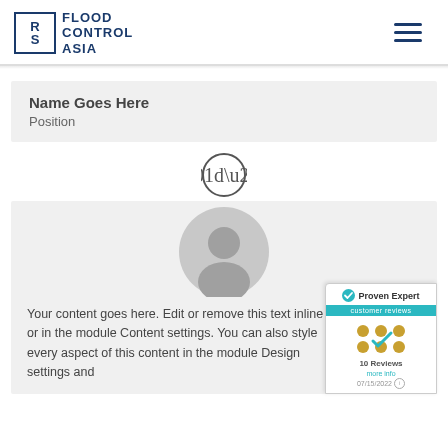RS FLOOD CONTROL ASIA
Name Goes Here
Position
[Figure (illustration): Quote icon (speech bubble with double quotation marks)]
[Figure (illustration): Generic user avatar placeholder (gray circle with person silhouette)]
Your content goes here. Edit or remove this text inline or in the module Content settings. You can also style every aspect of this content in the module Design settings and
[Figure (other): ProvenExpert customer reviews badge showing 10 Reviews, dated 07/15/2022]